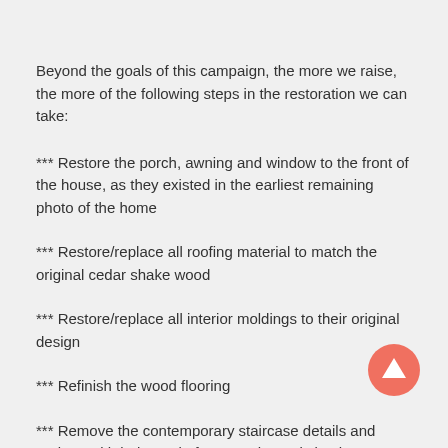Beyond the goals of this campaign, the more we raise, the more of the following steps in the restoration we can take:
*** Restore the porch, awning and window to the front of the house, as they existed in the earliest remaining photo of the home
*** Restore/replace all roofing material to match the original cedar shake wood
*** Restore/replace all interior moldings to their original design
*** Refinish the wood flooring
*** Remove the contemporary staircase details and replace with balustrade from another existing home Elias Disney built on the same street